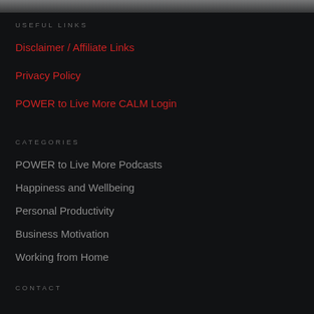USEFUL LINKS
Disclaimer / Affiliate Links
Privacy Policy
POWER to Live More CALM Login
CATEGORIES
POWER to Live More Podcasts
Happiness and Wellbeing
Personal Productivity
Business Motivation
Working from Home
CONTACT